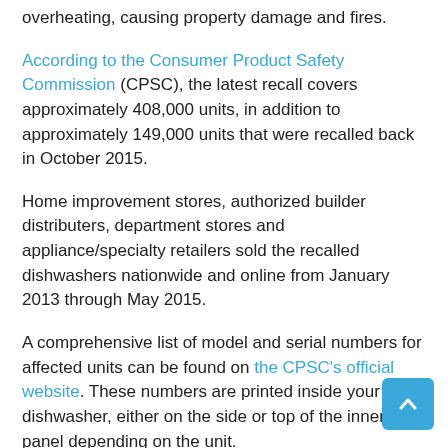overheating, causing property damage and fires.
According to the Consumer Product Safety Commission (CPSC), the latest recall covers approximately 408,000 units, in addition to approximately 149,000 units that were recalled back in October 2015.
Home improvement stores, authorized builder distributers, department stores and appliance/specialty retailers sold the recalled dishwashers nationwide and online from January 2013 through May 2015.
A comprehensive list of model and serial numbers for affected units can be found on the CPSC's official website. These numbers are printed inside your dishwasher, either on the side or top of the inner door panel depending on the unit.
If you have a recalled dishwasher in your home, you should immediately stop using the unit and contact either BSH Home Appliances for a free inspection and repair or Universal Appliance Repair. You can reach the BSH Home Appliance toll-free at 888-965-5813 from 8am to 8pm ET